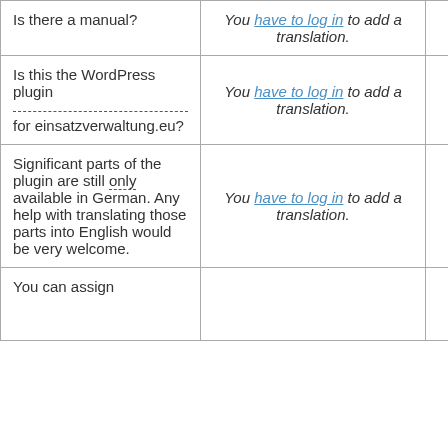| Question | Translation | Action |
| --- | --- | --- |
| Is there a manual? | You have to log in to add a translation. | Details |
| Is this the WordPress plugin for einsatzverwaltung.eu? | You have to log in to add a translation. | Details |
| Significant parts of the plugin are still only available in German. Any help with translating those parts into English would be very welcome. | You have to log in to add a translation. | Details |
| You can assign |  | Details |